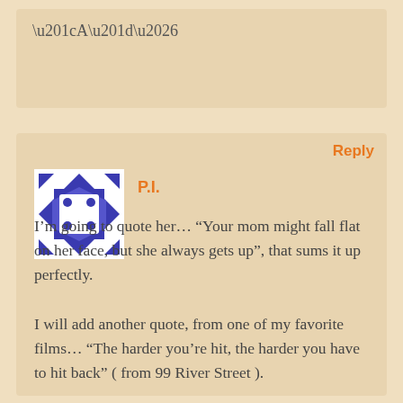“A”…
Reply
P.I.
I’m going to quote her… “Your mom might fall flat on her face, but she always gets up”, that sums it up perfectly.

I will add another quote, from one of my favorite films… “The harder you’re hit, the harder you have to hit back” ( from 99 River Street ).